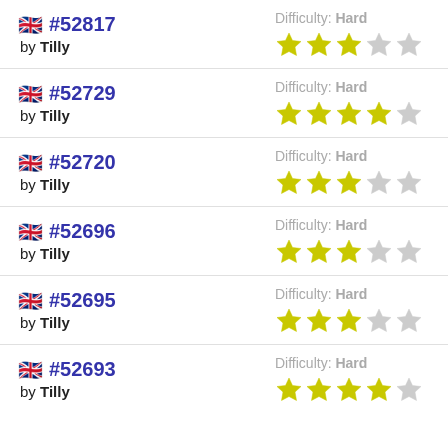#52817 by Tilly Difficulty: Hard ★★★☆☆
#52729 by Tilly Difficulty: Hard ★★★★☆
#52720 by Tilly Difficulty: Hard ★★★☆☆
#52696 by Tilly Difficulty: Hard ★★★☆☆
#52695 by Tilly Difficulty: Hard ★★★☆☆
#52693 by Tilly Difficulty: Hard ★★★★☆